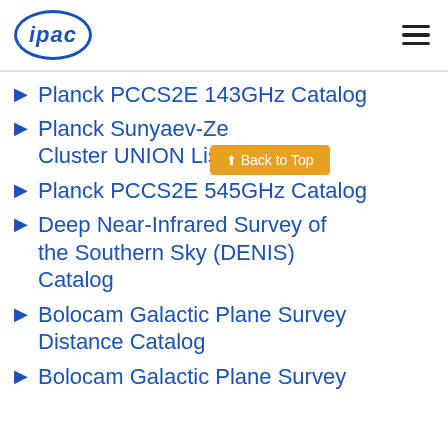ipac
Planck PCCS2E 143GHz Catalog
Planck Sunyaev-Zeldovich Cluster UNION List
Planck PCCS2E 545GHz Catalog
Deep Near-Infrared Survey of the Southern Sky (DENIS) Catalog
Bolocam Galactic Plane Survey Distance Catalog
Bolocam Galactic Plane Survey